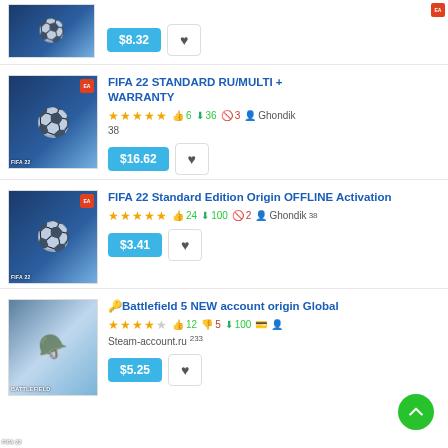Top partial listing with price $8.32
FIFA 22 STANDARD RU/MULTI + WARRANTY — 5 stars, 6 likes, 36 downloads, 3 disputes, seller: Ghondik, 38 — $16.62
FIFA 22 Standard Edition Origin OFFLINE Activation — 5 stars, 24 likes, 100 downloads, 2 disputes, seller: Ghondik 38 — $3.41
🔑Battlefield 5 NEW account origin Global — 4 stars, 12 likes, 5 dislikes, 100 downloads, seller: Steam-account.ru 233 — $5.25